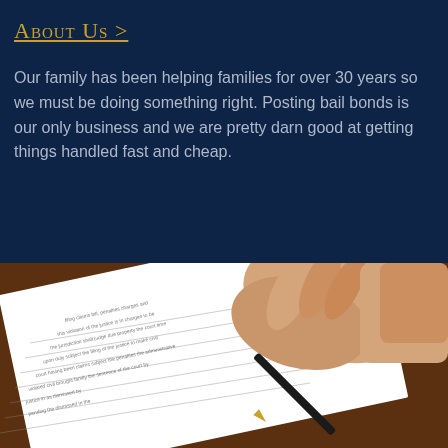About Us >
Our family has been helping families for over 30 years so we must be doing something right. Posting bail bonds is our only business and we are pretty darn good at getting things handled fast and cheap.
[Figure (photo): A hand holding a pen signing a legal document with lines of text, placed on a wooden surface.]